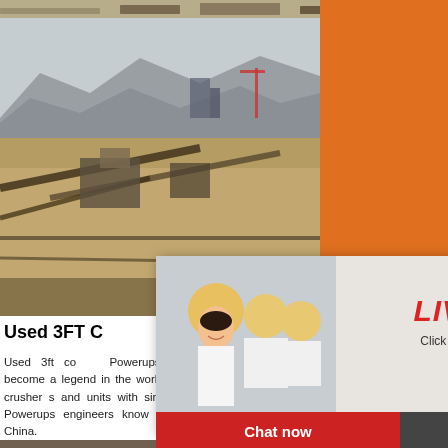[Figure (photo): Top strip photo of quarry/mining equipment]
[Figure (photo): Large quarry site with mountains in background, conveyor belts and mining equipment visible]
Used 3FT C... equipment .
Used 3ft co... Powerups. Man... crusher has become a legend in the world, a... thousands of cone crusher s and units with simil... all over the world. Powerups engineers know the ... $45,000. Shenyang, China.
[Figure (photo): Live Chat overlay with engineers in yellow hard hats]
LIVE CHAT
Click for a Free Consultation
Chat now
Chat later
[Figure (photo): Right sidebar orange panel with mining machine images]
Enjoy 3% discount
Click to Chat
Enquiry
[Figure (photo): Bottom photo of quarry/mining site]